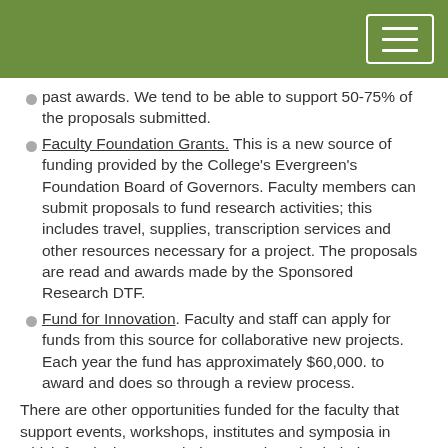past awards. We tend to be able to support 50-75% of the proposals submitted.
Faculty Foundation Grants. This is a new source of funding provided by the College's Evergreen's Foundation Board of Governors. Faculty members can submit proposals to fund research activities; this includes travel, supplies, transcription services and other resources necessary for a project. The proposals are read and awards made by the Sponsored Research DTF.
Fund for Innovation. Faculty and staff can apply for funds from this source for collaborative new projects. Each year the fund has approximately $60,000. to award and does so through a review process.
There are other opportunities funded for the faculty that support events, workshops, institutes and symposia in which faculty integrate their research and scholarly interests, and teaching.
Summer Institutes. The College currently offers 20-25 workshops and institutes for the faculty over the